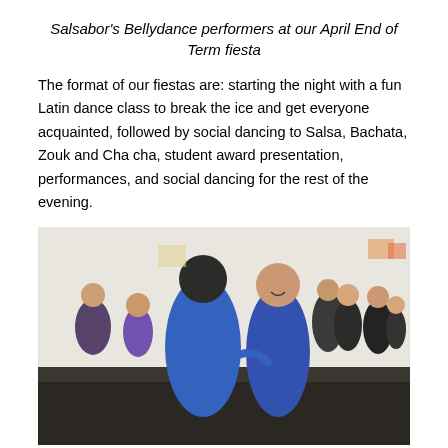Salsabor's Bellydance performers at our April End of Term fiesta
The format of our fiestas are: starting the night with a fun Latin dance class to break the ice and get everyone acquainted, followed by social dancing to Salsa, Bachata, Zouk and Cha cha, student award presentation, performances, and social dancing for the rest of the evening.
[Figure (photo): People dancing at a Latin dance fiesta event in a bright room. A man in a blue shirt dances with a woman in a blue dress, smiling. Other couples dance in the background.]